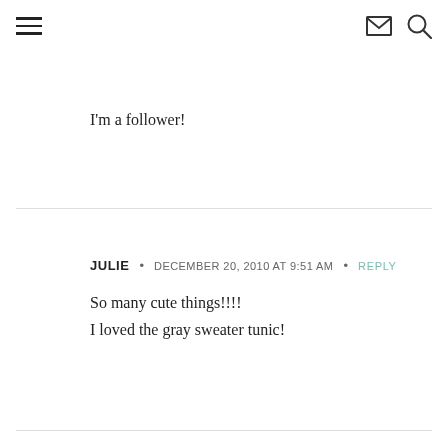☰ [hamburger menu] [email icon] [search icon]
I'm a follower!
JULIE • DECEMBER 20, 2010 AT 9:51 AM • REPLY
So many cute things!!!!
I loved the gray sweater tunic!